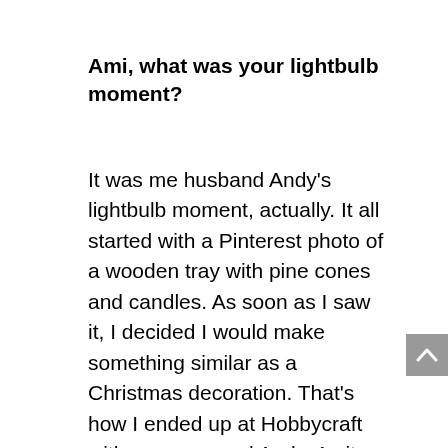Ami, what was your lightbulb moment?
It was me husband Andy's lightbulb moment, actually. It all started with a Pinterest photo of a wooden tray with pine cones and candles. As soon as I saw it, I decided I would make something similar as a Christmas decoration. That's how I ended up at Hobbycraft with me mam and Andy. As it turned out, the tray never got made as I couldn't find the perfect size. But it had sparked something inside me, because while we were in